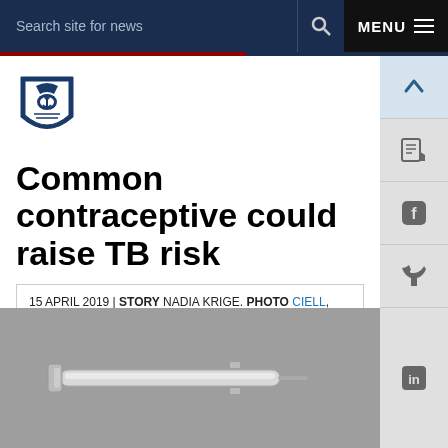Search site for news  MENU
[Figure (logo): University shield/crest logo in blue and white]
Common contraceptive could raise TB risk
15 APRIL 2019 | STORY NADIA KRIGE. PHOTO CIELL, WIKIMEDIA. Read time 5 min.
[Figure (photo): Photo of a glass syringe/injection device on a grey background]